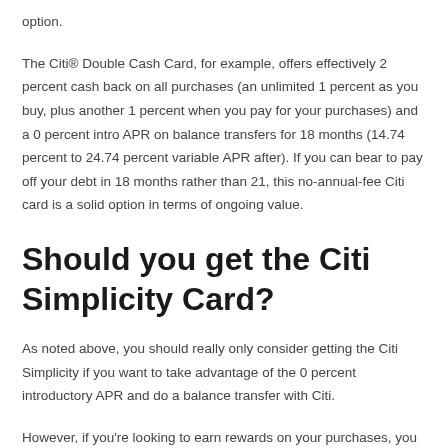option.
The Citi® Double Cash Card, for example, offers effectively 2 percent cash back on all purchases (an unlimited 1 percent as you buy, plus another 1 percent when you pay for your purchases) and a 0 percent intro APR on balance transfers for 18 months (14.74 percent to 24.74 percent variable APR after). If you can bear to pay off your debt in 18 months rather than 21, this no-annual-fee Citi card is a solid option in terms of ongoing value.
Should you get the Citi Simplicity Card?
As noted above, you should really only consider getting the Citi Simplicity if you want to take advantage of the 0 percent introductory APR and do a balance transfer with Citi.
However, if you're looking to earn rewards on your purchases, you